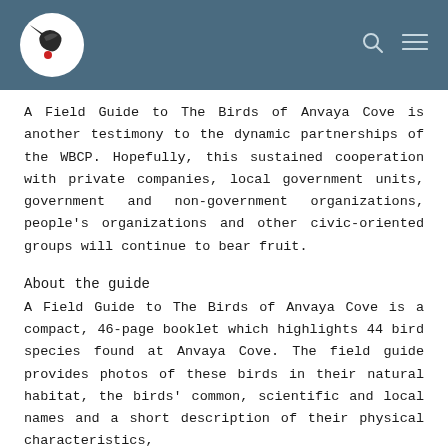Wild Bird Club of the Philippines header with logo
A Field Guide to The Birds of Anvaya Cove is another testimony to the dynamic partnerships of the WBCP. Hopefully, this sustained cooperation with private companies, local government units, government and non-government organizations, people's organizations and other civic-oriented groups will continue to bear fruit.
About the guide
A Field Guide to The Birds of Anvaya Cove is a compact, 46-page booklet which highlights 44 bird species found at Anvaya Cove. The field guide provides photos of these birds in their natural habitat, the birds' common, scientific and local names and a short description of their physical characteristics,